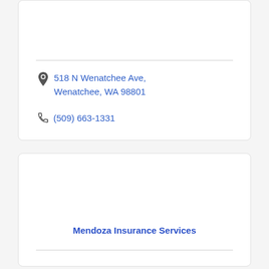518 N Wenatchee Ave, Wenatchee, WA 98801
(509) 663-1331
Mendoza Insurance Services